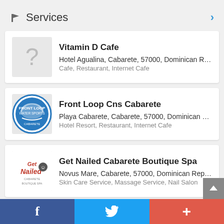Services
Vitamin D Cafe — Hotel Agualina, Cabarete, 57000, Dominican Re... — Cafe, Restaurant, Internet Cafe
Front Loop Cns Cabarete — Playa Cabarete, Cabarete, 57000, Dominican R... — Hotel Resort, Restaurant, Internet Cafe
Get Nailed Cabarete Boutique Spa — Novus Mare, Cabarete, 57000, Dominican Repu... — Skin Care Service, Massage Service, Nail Salon
Ceiba Cafe & Pizzeria
f  (twitter)  +